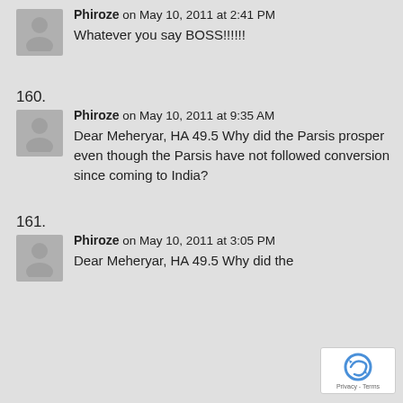Whatever you say BOSS!!!!!!
160.
Phiroze on May 10, 2011 at 9:35 AM
Dear Meheryar, HA 49.5 Why did the Parsis prosper even though the Parsis have not followed conversion since coming to India?
161.
Phiroze on May 10, 2011 at 3:05 PM
Dear Meheryar, HA 49.5 Why did the